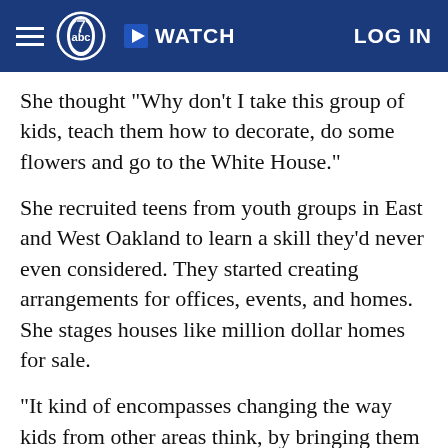ABC7 News — WATCH | LOG IN
She thought "Why don't I take this group of kids, teach them how to decorate, do some flowers and go to the White House."
She recruited teens from youth groups in East and West Oakland to learn a skill they'd never even considered. They started creating arrangements for offices, events, and homes. She stages houses like million dollar homes for sale.
"It kind of encompasses changing the way kids from other areas think, by bringing them out of the 'hood," said Anthony.
Preparing for the White House has been life changing.
"When I walk into houses like this, it makes me dream.